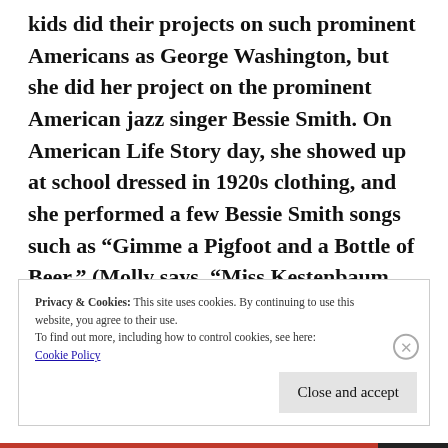kids did their projects on such prominent Americans as George Washington, but she did her project on the prominent American jazz singer Bessie Smith. On American Life Story day, she showed up at school dressed in 1920s clothing, and she performed a few Bessie Smith songs such as “Gimme a Pigfoot and a Bottle of Beer.” (Molly says, “Miss Kestenbaum was a very progressive 2nd-grade teacher.”)
Privacy & Cookies: This site uses cookies. By continuing to use this website, you agree to their use.
To find out more, including how to control cookies, see here:
Cookie Policy